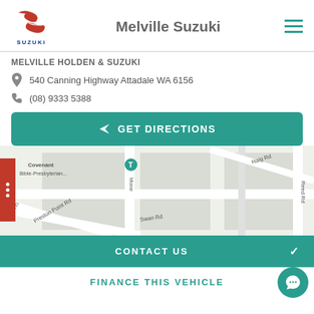[Figure (logo): Suzuki logo with red S-wing emblem and SUZUKI text in blue]
Melville Suzuki
MELVILLE HOLDEN & SUZUKI
540 Canning Highway Attadale WA 6156
(08) 9333 5388
GET DIRECTIONS
[Figure (map): Street map showing area with Covenant Bible-Presbyterian, Haig Rd, Mone, Reed Rd, Swan Rd, Preston Point Rd roads]
CONTACT US
FINANCE THIS VEHICLE